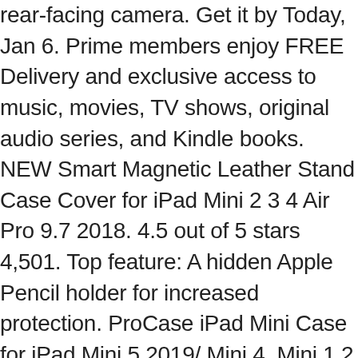rear-facing camera. Get it by Today, Jan 6. Prime members enjoy FREE Delivery and exclusive access to music, movies, TV shows, original audio series, and Kindle books. NEW Smart Magnetic Leather Stand Case Cover for iPad Mini 2 3 4 Air Pro 9.7 2018. 4.5 out of 5 stars 4,501. Top feature: A hidden Apple Pencil holder for increased protection. ProCase iPad Mini Case for iPad Mini 5 2019/ Mini 4, Mini 1 2 3, Slim Stand Protective Folio Case Smart Cover for iPad Mini 5/4/3/2/1-Black, FREE Shipping on orders over $25 shipped by Amazon, ProCase iPad Mini 1 2 3 Case(Old Model A1432 A1490 1455), Slim Lightweight Stand Cover with Translucent Frosted Back Smart Case for 7.9" Apple iPad Mini, Mini 2, Mini 3, with Auto Sleep/Wake -Black, MoKo Case Fit New iPad Mini 5 2019 (5th Generation 7.9 inch) - Slim Lightweight Smart Shell Stand Cover with Translucent Frosted Back Protector, with Auto Wake/Sleep - Rose Gold, LEDNICEKER Kids Case